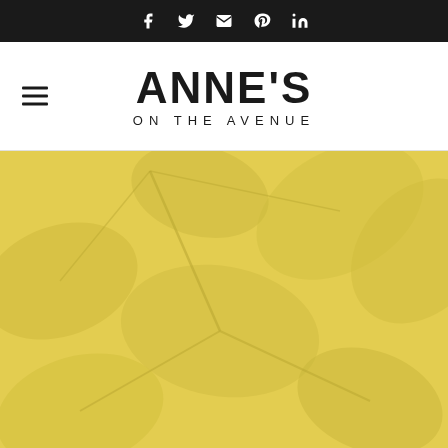Social media icons: Facebook, Twitter, Email, Pinterest, LinkedIn
[Figure (logo): Anne's On The Avenue logo with hamburger menu icon on left]
[Figure (photo): Yellow-tinted close-up photo of ivy or large green leaves with golden overlay]